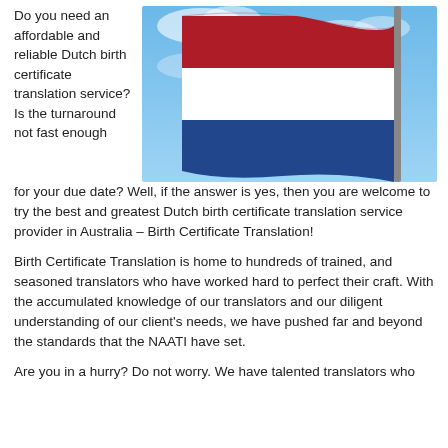Do you need an affordable and reliable Dutch birth certificate translation service? Is the turnaround not fast enough for your due date? Well, if the answer is yes, then you are welcome to try the best and greatest Dutch birth certificate translation service provider in Australia – Birth Certificate Translation!
[Figure (photo): A Dutch flag (red, white, and blue horizontal stripes) waving against a blue sky with clouds.]
Birth Certificate Translation is home to hundreds of trained, and seasoned translators who have worked hard to perfect their craft. With the accumulated knowledge of our translators and our diligent understanding of our client's needs, we have pushed far and beyond the standards that the NAATI have set.
Are you in a hurry? Do not worry. We have talented translators who ...